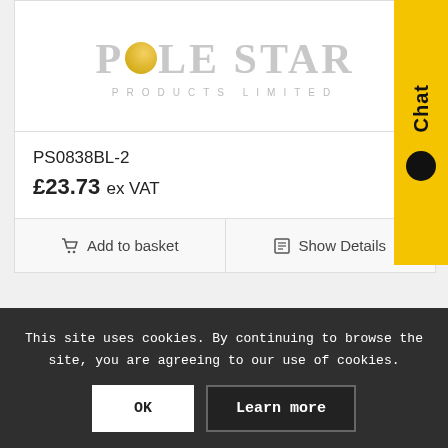[Figure (logo): Pole Star Products Limited logo — large stylized grey text with gold circle replacing the O]
PS0838BL-2
£23.73 ex VAT
Add to basket
Show Details
Chat
This site uses cookies. By continuing to browse the site, you are agreeing to our use of cookies.
OK
Learn more